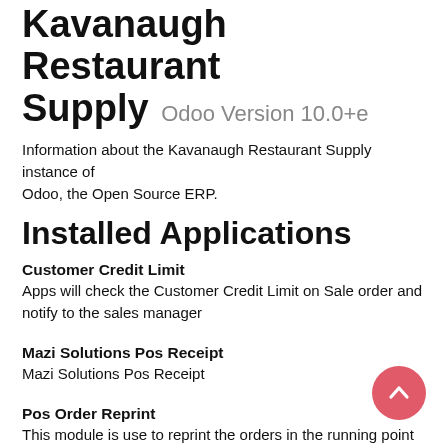Kavanaugh Restaurant Supply Odoo Version 10.0+e
Information about the Kavanaugh Restaurant Supply instance of Odoo, the Open Source ERP.
Installed Applications
Customer Credit Limit
Apps will check the Customer Credit Limit on Sale order and notify to the sales manager
Mazi Solutions Pos Receipt
Mazi Solutions Pos Receipt
Pos Order Reprint
This module is use to reprint the orders in the running point of sale session.
Pos Order Return
This module is use to Return orders in running point of sale session.